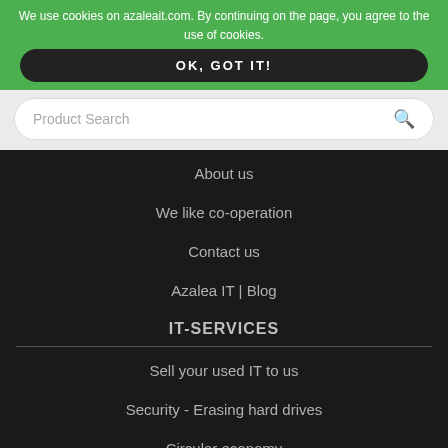We use cookies on azaleait.com. By continuing on the page, you agree to the use of cookies.
OK, GOT IT!
Product Search
About us
We like co-operation
Contact us
Azalea IT | Blog
IT-SERVICES
Sell your used IT to us
Security - Erasing hard drives
Circular economy
CUSTOMER SERVICE